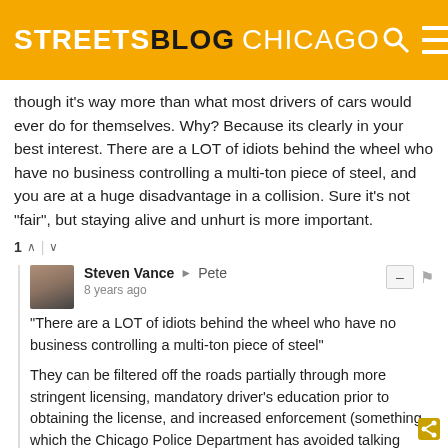STREETSBLOG CHICAGO
though it's way more than what most drivers of cars would ever do for themselves. Why? Because its clearly in your best interest. There are a LOT of idiots behind the wheel who have no business controlling a multi-ton piece of steel, and you are at a huge disadvantage in a collision. Sure it's not "fair", but staying alive and unhurt is more important.
1 ↑ | ↓
Steven Vance → Pete
8 years ago
"There are a LOT of idiots behind the wheel who have no business controlling a multi-ton piece of steel"

They can be filtered off the roads partially through more stringent licensing, mandatory driver's education prior to obtaining the license, and increased enforcement (something which the Chicago Police Department has avoided talking about for years).
2 ↑ | ↓